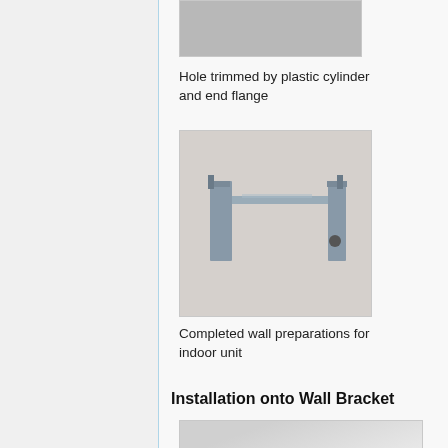[Figure (photo): Top portion of a photo showing a hole trimmed by plastic cylinder and end flange, partially visible at top of page]
Hole trimmed by plastic cylinder and end flange
[Figure (photo): Photo of completed wall preparations for indoor unit showing a metal wall bracket mounted on a light-colored wall with a small circular hole]
Completed wall preparations for indoor unit
Installation onto Wall Bracket
[Figure (photo): Bottom photo partially visible showing installation onto wall bracket, light gray/white surface visible]